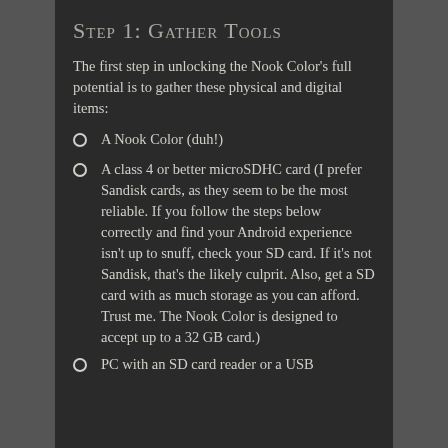Step 1: Gather Tools
The first step in unlocking the Nook Color's full potential is to gather these physical and digital items:
A Nook Color (duh!)
A class 4 or better microSDHC card (I prefer Sandisk cards, as they seem to be the most reliable. If you follow the steps below correctly and find your Android experience isn't up to snuff, check your SD card. If it's not Sandisk, that's the likely culprit. Also, get a SD card with as much storage as you can afford. Trust me. The Nook Color is designed to accept up to a 32 GB card.)
PC with an SD card reader or a USB